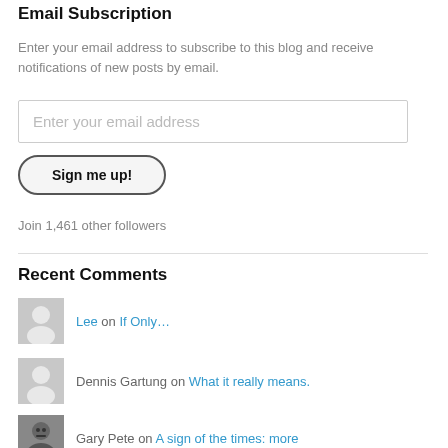Email Subscription
Enter your email address to subscribe to this blog and receive notifications of new posts by email.
Enter your email address
Sign me up!
Join 1,461 other followers
Recent Comments
Lee on If Only…
Dennis Gartung on What it really means.
Gary Pete on A sign of the times: more